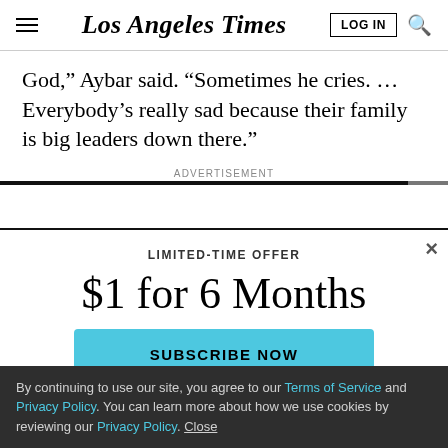Los Angeles Times
God,” Aybar said. “Sometimes he cries. … Everybody’s really sad because their family is big leaders down there.”
ADVERTISEMENT
LIMITED-TIME OFFER
$1 for 6 Months
SUBSCRIBE NOW
By continuing to use our site, you agree to our Terms of Service and Privacy Policy. You can learn more about how we use cookies by reviewing our Privacy Policy. Close